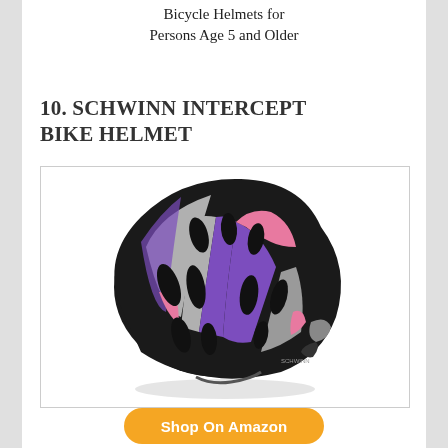Bicycle Helmets for Persons Age 5 and Older
10. SCHWINN INTERCEPT BIKE HELMET
[Figure (photo): A Schwinn Intercept bike helmet in black, purple, silver, and pink colorway, shown at an angle.]
Shop On Amazon